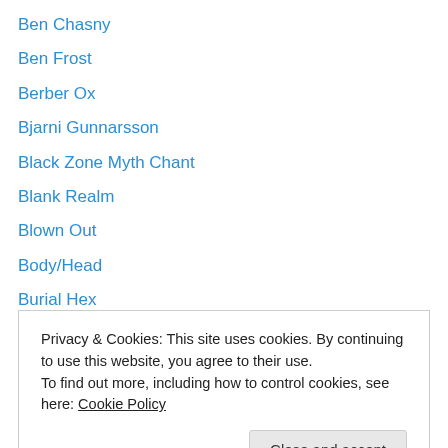Ben Chasny
Ben Frost
Berber Ox
Bjarni Gunnarsson
Black Zone Myth Chant
Blank Realm
Blown Out
Body/Head
Burial Hex
Carter Tutti Void
Chris Corsano
Christian Fennesz
Circuit Breaker
Privacy & Cookies: This site uses cookies. By continuing to use this website, you agree to their use. To find out more, including how to control cookies, see here: Cookie Policy
Cum Gutter